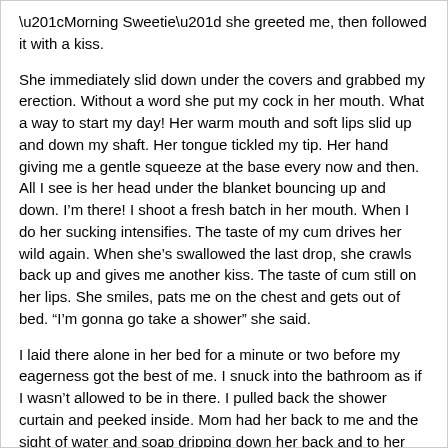“Morning Sweetie” she greeted me, then followed it with a kiss.
She immediately slid down under the covers and grabbed my erection. Without a word she put my cock in her mouth. What a way to start my day! Her warm mouth and soft lips slid up and down my shaft. Her tongue tickled my tip. Her hand giving me a gentle squeeze at the base every now and then. All I see is her head under the blanket bouncing up and down. I’m there! I shoot a fresh batch in her mouth. When I do her sucking intensifies. The taste of my cum drives her wild again. When she’s swallowed the last drop, she crawls back up and gives me another kiss. The taste of cum still on her lips. She smiles, pats me on the chest and gets out of bed. “I’m gonna go take a shower” she said.
I laid there alone in her bed for a minute or two before my eagerness got the best of me. I snuck into the bathroom as if I wasn’t allowed to be in there. I pulled back the shower curtain and peeked inside. Mom had her back to me and the sight of water and soap dripping down her back and to her big ass made me hard again.